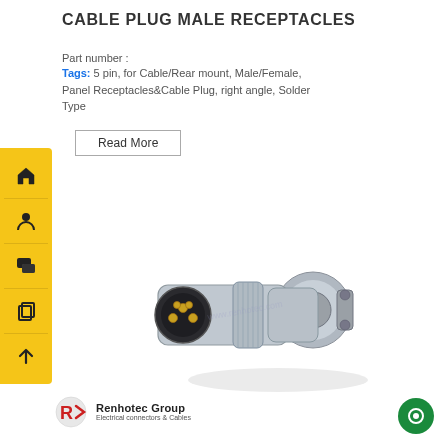CABLE PLUG MALE RECEPTACLES
Part number :
Tags: 5 pin, for Cable/Rear mount, Male/Female, Panel Receptacles&Cable Plug, right angle, Solder Type
Read More
[Figure (photo): Right-angle 5-pin cable plug male receptacle connector with gold pins and nickel-plated metal housing, showing the connector from a front-angle view]
[Figure (logo): Renhotec Group logo — stylized R icon with text 'Renhotec Group' and subtitle 'Electrical connectors & Cables']